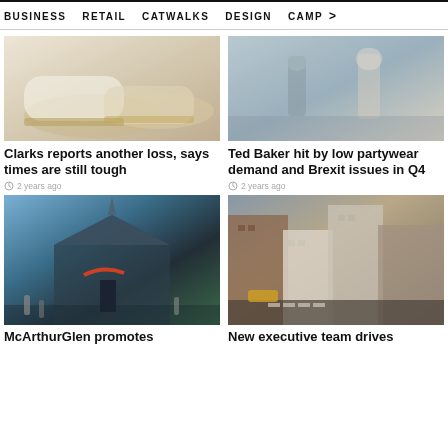BUSINESS   RETAIL   CATWALKS   DESIGN   CAMP >
[Figure (photo): Close-up of white/cream leather shoes with tan soles]
Clarks reports another loss, says times are still tough
2 years ago
[Figure (photo): People walking outdoors in neutral toned clothing]
Ted Baker hit by low partywear demand and Brexit issues in Q4
2 years ago
[Figure (photo): McArthurGlen outlet with Nike store and Radley sign]
[Figure (photo): New York City street corner with buildings]
McArthurGlen promotes
New executive team drives